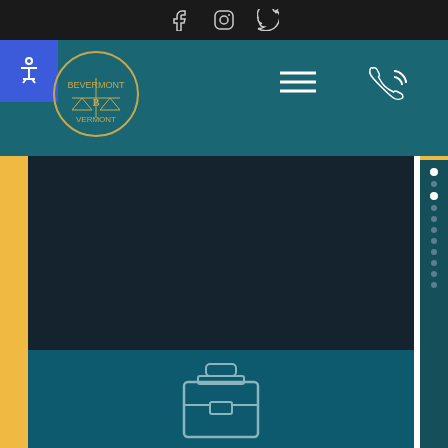Social media icons: Facebook, Instagram, Twitter
[Figure (logo): Bevermont law firm circular logo with scales of justice and laurel wreath, gold and white on teal background]
[Figure (infographic): Hamburger navigation menu icon (three horizontal lines) in white on teal background]
[Figure (infographic): Phone/call icon in white outline on teal background]
SSI can rescue our clients from poverty.
[Figure (illustration): Briefcase/portfolio icon in light outline style on teal background]